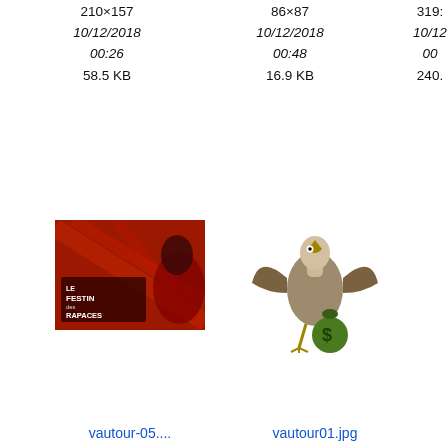210×157
10/12/2018
00:26
58.5 KB
86×87
10/12/2018
00:48
16.9 KB
319×
10/12
00
240.
[Figure (photo): Thumbnail of vautour-05 image showing a red movie poster with text 'Le Festin des Rapaces']
[Figure (photo): Thumbnail of vautour01.jpg showing an illustrated vulture bird holding a money bag]
vautour-05....
vautour01.jpg
640×343
10/12/2018
00:51
495.9 KB
170×154
08/12/2018
15:38
4.2 KB
debut.txt
-
Dernière modification:
04/03/2022
15:06
de
webmestre